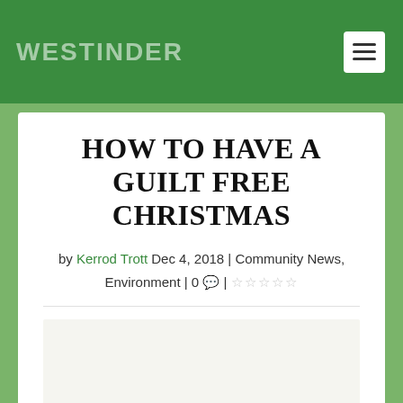WESTINDER
HOW TO HAVE A GUILT FREE CHRISTMAS
by Kerrod Trott Dec 4, 2018 | Community News, Environment | 0 💬 | ☆☆☆☆☆
[Figure (photo): Article image placeholder below the meta line]